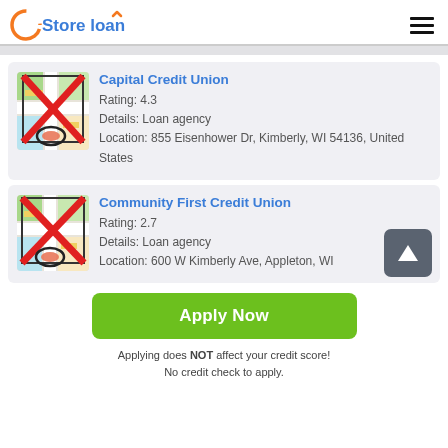Store loan
Capital Credit Union
Rating: 4.3
Details: Loan agency
Location: 855 Eisenhower Dr, Kimberly, WI 54136, United States
Community First Credit Union
Rating: 2.7
Details: Loan agency
Location: 600 W Kimberly Ave, Appleton, WI
Apply Now
Applying does NOT affect your credit score!
No credit check to apply.